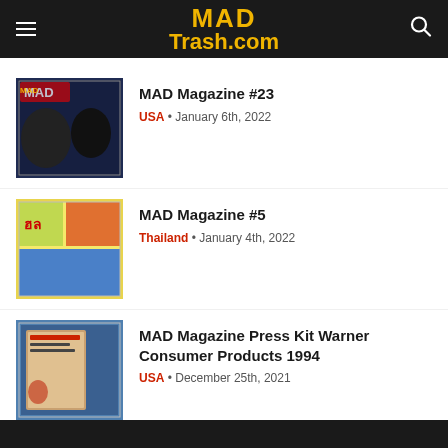MAD Trash.com
MAD Magazine #23 — USA • January 6th, 2022
MAD Magazine #5 — Thailand • January 4th, 2022
MAD Magazine Press Kit Warner Consumer Products 1994 — USA • December 25th, 2021